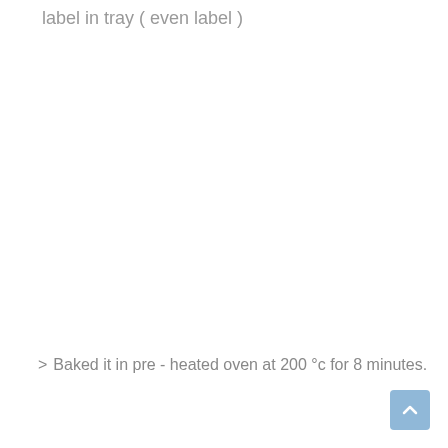label in tray ( even label )
Baked it in pre - heated oven at 200 °c for 8 minutes.